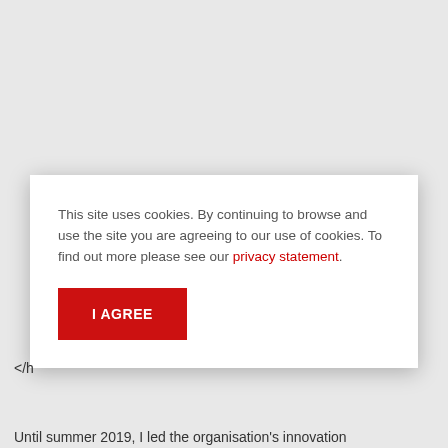This site uses cookies. By continuing to browse and use the site you are agreeing to our use of cookies. To find out more please see our privacy statement.
I AGREE
</h
Until summer 2019, I led the organisation's innovation